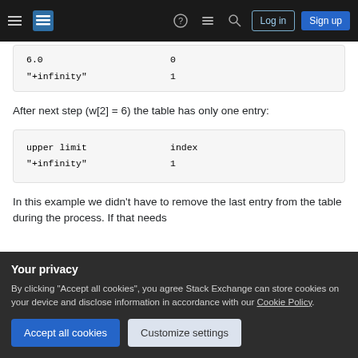Stack Exchange navigation bar with hamburger menu, logo, help, chat, search icons, Log in and Sign up buttons
| upper limit | index |
| --- | --- |
| 6.0 | 0 |
| "+infinity" | 1 |
After next step (w[2] = 6) the table has only one entry:
| upper limit | index |
| --- | --- |
| "+infinity" | 1 |
In this example we didn't have to remove the last entry from the table during the process. If that needs
actually works!
Your privacy

By clicking "Accept all cookies", you agree Stack Exchange can store cookies on your device and disclose information in accordance with our Cookie Policy.